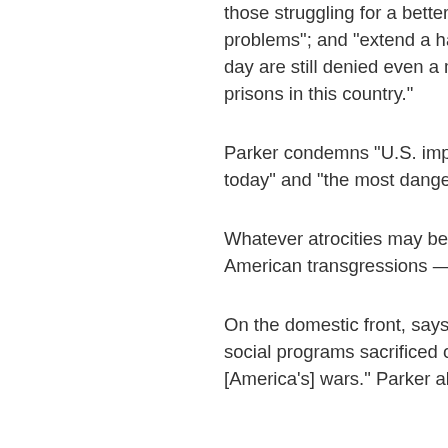those struggling for a better w... problems"; and "extend a hand... day are still denied even a minu... prisons in this country."
Parker condemns "U.S. imperia... today" and "the most dangerou...
Whatever atrocities may be con... American transgressions — "like...
On the domestic front, says Par... social programs sacrificed on th... [America's] wars." Parker also co...